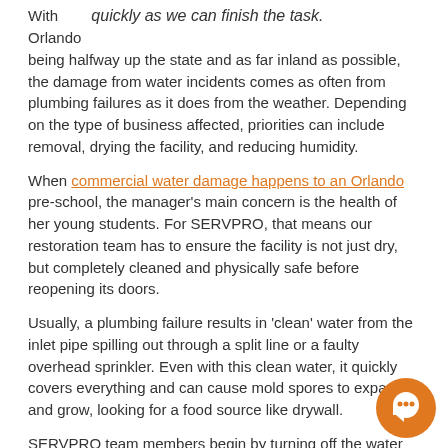With quickly as we can finish the task. Orlando being halfway up the state and as far inland as possible, the damage from water incidents comes as often from plumbing failures as it does from the weather. Depending on the type of business affected, priorities can include removal, drying the facility, and reducing humidity.
When commercial water damage happens to an Orlando pre-school, the manager’s main concern is the health of her young students. For SERVPRO, that means our restoration team has to ensure the facility is not just dry, but completely cleaned and physically safe before reopening its doors.
Usually, a plumbing failure results in ‘clean’ water from the inlet pipe spilling out through a split line or a faulty overhead sprinkler. Even with this clean water, it quickly covers everything and can cause mold spores to expand and grow, looking for a food source like drywall.
SERVPRO team members begin by turning off the water above the source of the leak or shutting off the water completely if necessary. Our specialists can make many